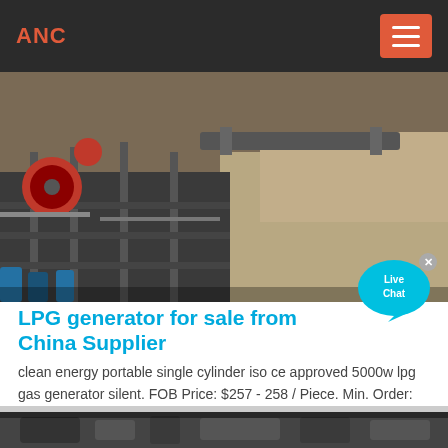ANC
[Figure (photo): Aerial/overhead view of industrial crushing or mining equipment with steel framework, conveyor belts, and red mechanical components on an outdoor construction or quarry site.]
LPG generator for sale from China Supplier
clean energy portable single cylinder iso ce approved 5000w lpg gas generator silent. FOB Price: $257 - 258 / Piece. Min. Order: 128 Pieces.
[Figure (photo): Partial view of industrial machinery interior, dark tones.]